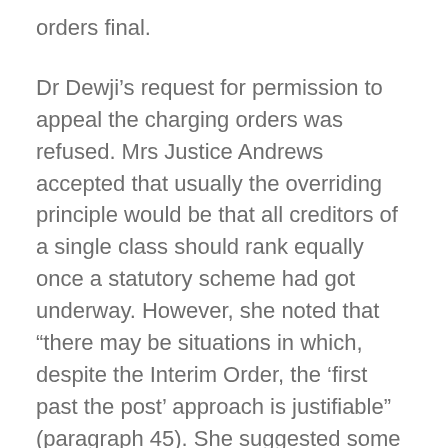orders final.
Dr Dewji’s request for permission to appeal the charging orders was refused. Mrs Justice Andrews accepted that usually the overriding principle would be that all creditors of a single class should rank equally once a statutory scheme had got underway. However, she noted that “there may be situations in which, despite the Interim Order, the ‘first past the post’ approach is justifiable” (paragraph 45). She suggested some scenarios: where a judgment creditor were seeking to recover monies paid under a contract that had been rescinded for fraud, “the Court might take the view when exercising its discretion that it would not be in the interests of justice to allow the debtor’s other creditors to participate in that share of his estate that was increased at the expense of the party he deceived” (paragraph 29) or where “the asset against which the judgment creditor is seeking to execute judgment falls entirely outside the IVA, so that there is no